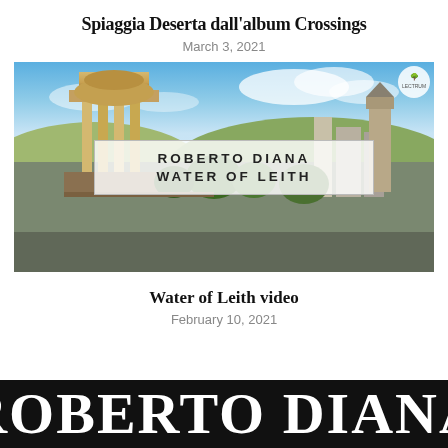Spiaggia Deserta dall'album Crossings
March 3, 2021
[Figure (photo): Album cover photo of Roberto Diana - Water of Leith showing Edinburgh skyline with the Dugald Stewart Monument and city buildings. A white text box overlay reads 'ROBERTO DIANA / WATER OF LEITH'. A small tree logo badge appears in the top right corner.]
Water of Leith video
February 10, 2021
ROBERTO DIANA